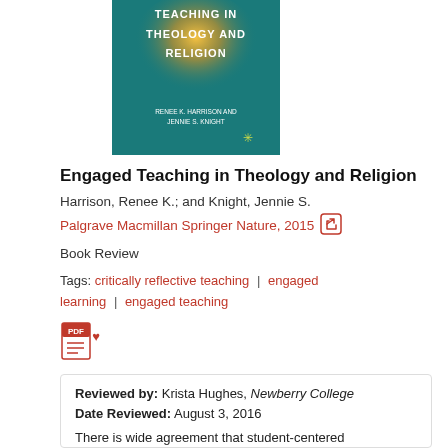[Figure (illustration): Book cover of 'Engaged Teaching in Theology and Religion' by Renee K. Harrison and Jennie S. Knight, published by Palgrave Macmillan Springer Nature. Cover shows a teal/green background with a glowing golden orb and white bold text.]
Engaged Teaching in Theology and Religion
Harrison, Renee K.; and Knight, Jennie S.
Palgrave Macmillan Springer Nature, 2015
Book Review
Tags: critically reflective teaching | engaged learning | engaged teaching
Reviewed by: Krista Hughes, Newberry College
Date Reviewed: August 3, 2016
There is wide agreement that student-centered